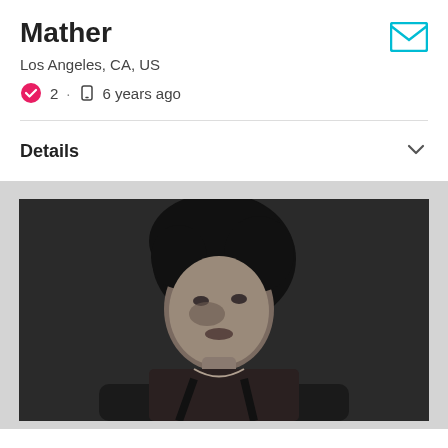Mather
Los Angeles, CA, US
2 · 6 years ago
Details
[Figure (photo): Black and white portrait photograph of a woman with natural curly hair, looking at the camera with decorative markings on her face, wearing a dark top with straps and a necklace.]